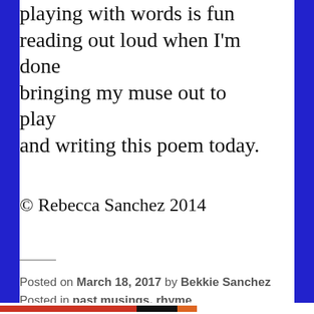playing with words is fun
reading out loud when I'm done
bringing my muse out to play
and writing this poem today.
© Rebecca Sanchez 2014
Posted on March 18, 2017 by Bekkie Sanchez
Posted in past musings, rhyme
2 Comments
Privacy & Cookies: This site uses cookies. By continuing to use this website, you agree to their use.
To find out more, including how to control cookies, see here: Cookie Policy
Close and accept